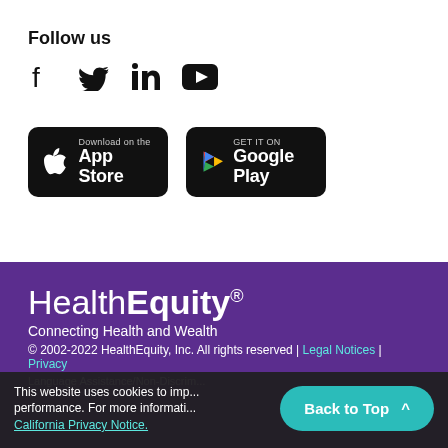Follow us
[Figure (illustration): Social media icons: Facebook, Twitter, LinkedIn, YouTube]
[Figure (illustration): App store download buttons: Download on the App Store, Get it on Google Play]
HealthEquity® Connecting Health and Wealth
© 2002-2022 HealthEquity, Inc. All rights reserved | Legal Notices | Privacy
Language Assistance/Non-Discrimination
This website uses cookies to improve performance. For more information see our California Privacy Notice.
Back to Top ^